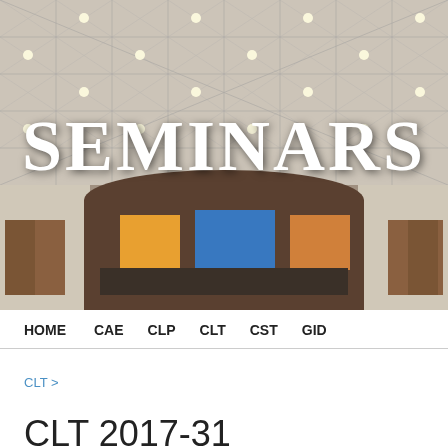[Figure (photo): Conference hall interior with decorative geometric ceiling pattern and large display screens at the front. The word SEMINARS appears in large white serif text overlaid on the image.]
HOME   CAE   CLP   CLT   CST   GID
CLT >
CLT 2017-31